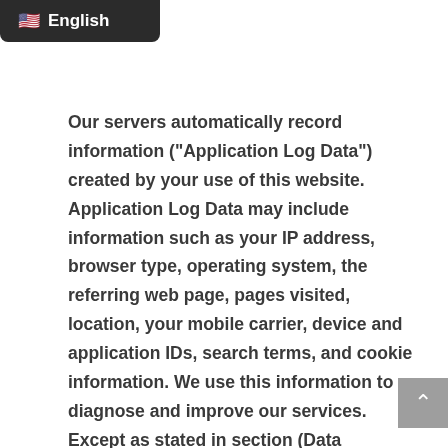🇺🇸 English
Our servers automatically record information ("Application Log Data") created by your use of this website. Application Log Data may include information such as your IP address, browser type, operating system, the referring web page, pages visited, location, your mobile carrier, device and application IDs, search terms, and cookie information. We use this information to diagnose and improve our services. Except as stated in section (Data Retention), we will either delete the Application Log Data or remove any account identifiers, such as your username, full IP address, or email address, after 48 months.